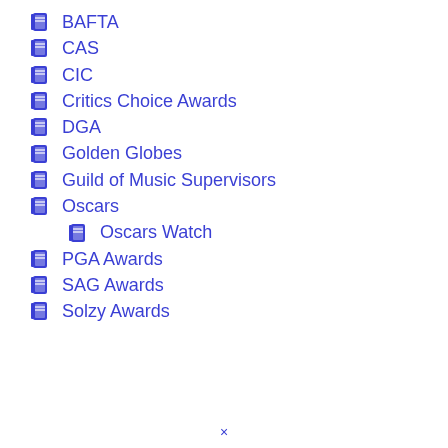BAFTA
CAS
CIC
Critics Choice Awards
DGA
Golden Globes
Guild of Music Supervisors
Oscars
Oscars Watch
PGA Awards
SAG Awards
Solzy Awards
×